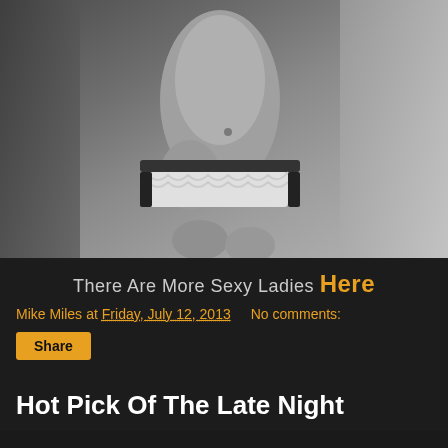[Figure (photo): Black and white photograph of a woman's torso wearing white and black lingerie, standing near curtains]
There Are More Sexy Ladies Here
Mike Miles at Friday, July 12, 2013    No comments:
Share
Hot Pick Of The Late Night